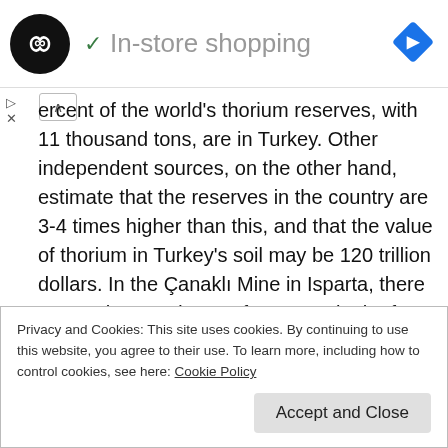In-store shopping
ercent of the world's thorium reserves, with 11 thousand tons, are in Turkey. Other independent sources, on the other hand, estimate that the reserves in the country are 3-4 times higher than this, and that the value of thorium in Turkey's soil may be 120 trillion dollars. In the Çanaklı Mine in Isparta, there are 20 thousand tons of reserves in the form of easily processed torite mineral, and only this reserve can meet our electricity energy for 100 years. With thorium, an energy that cannot be made an atomic bomb will be produced. More importantly, accelerator-driven thorium-fueled systems will
Privacy and Cookies: This site uses cookies. By continuing to use this website, you agree to their use. To learn more, including how to control cookies, see here: Cookie Policy